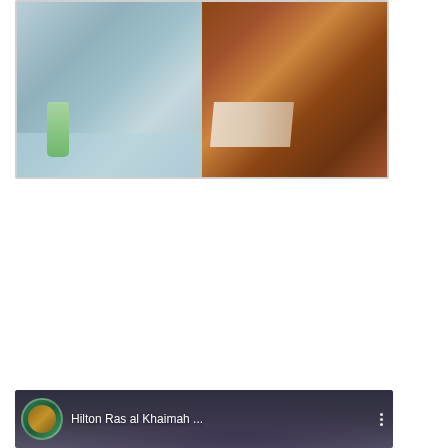[Figure (photo): A poolside/deck photograph showing two sections: left side shows a swimming pool area with a green drink/glass and pool chairs visible, right side shows a wooden deck with magazines or books laid on it.]
[Figure (screenshot): A YouTube video thumbnail/card showing 'Hilton Ras al Khaimah ...' with a circular avatar of a person, a blurred hotel/resort building background at dusk, and a three-dot menu icon on the right.]